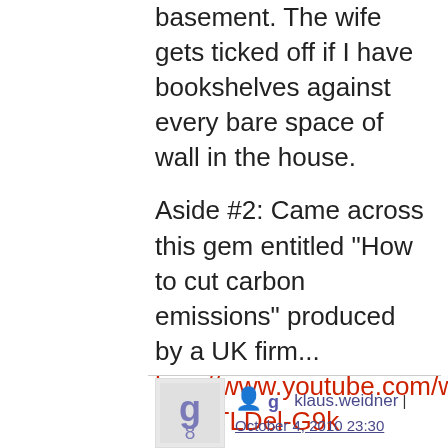basement. The wife gets ticked off if I have bookshelves against every bare space of wall in the house.
Aside #2: Came across this gem entitled "How to cut carbon emissions" produced by a UK firm... http://www.youtube.com/watch?v=sSTLDel-G9k
Don't let your kids watch this, as it does contain violent scenes of people blowing up.
klaus.weidner | October 4, 2010 23:30